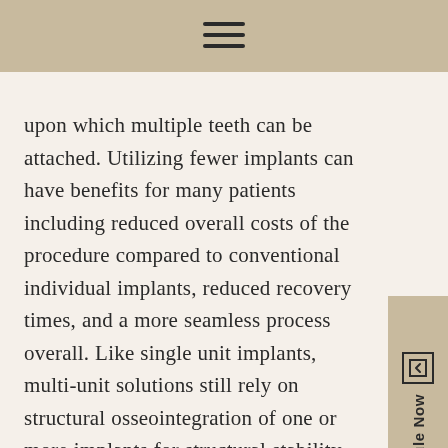≡
upon which multiple teeth can be attached. Utilizing fewer implants can have benefits for many patients including reduced overall costs of the procedure compared to conventional individual implants, reduced recovery times, and a more seamless process overall. Like single unit implants, multi-unit solutions still rely on structural osseointegration of one or more implants for structural stability. This conveys many of the same bone retention and resorption-fighting benefits as individually implanted benefits. While a passive fit is harder to achieve with a multi-unit solution, the right doctor, oral surgeon, or prosthodontist in charge can get